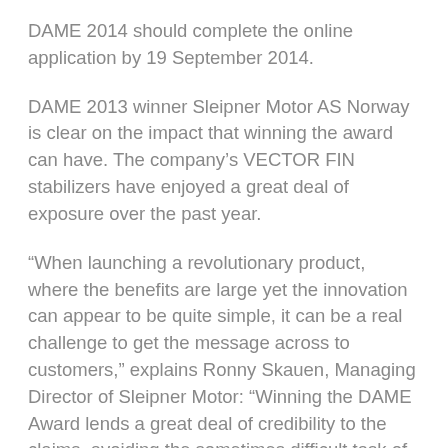DAME 2014 should complete the online application by 19 September 2014.
DAME 2013 winner Sleipner Motor AS Norway is clear on the impact that winning the award can have. The company's VECTOR FIN stabilizers have enjoyed a great deal of exposure over the past year.
“When launching a revolutionary product, where the benefits are large yet the innovation can appear to be quite simple, it can be a real challenge to get the message across to customers,” explains Ronny Skauen, Managing Director of Sleipner Motor: “Winning the DAME Award lends a great deal of credibility to the claims, avoiding the sometimes difficult task of explaining the technology in detail to interested customers.